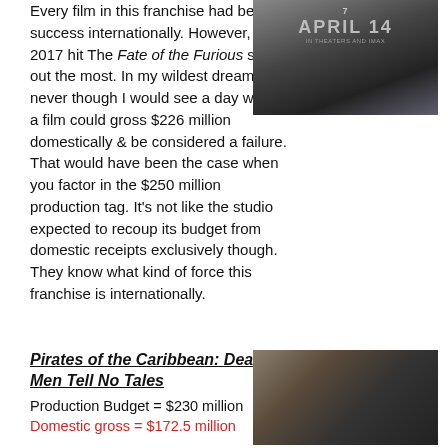Every film in this franchise had better success internationally. However, the 2017 hit The Fate of the Furious sticks out the most. In my wildest dreams, I never though I would see a day where a film could gross $226 million domestically & be considered a failure. That would have been the case when you factor in the $250 million production tag. It's not like the studio expected to recoup its budget from domestic receipts exclusively though. They know what kind of force this franchise is internationally.
[Figure (photo): Movie poster for Fast & Furious 7 showing 'APRIL 14 IN THEATERS AND IMAX' with cars in background]
Pirates of the Caribbean: Dead Men Tell No Tales
Production Budget = $230 million
Domestic gross = $172.5 million
[Figure (photo): Movie poster for a film showing a close-up face of a man]